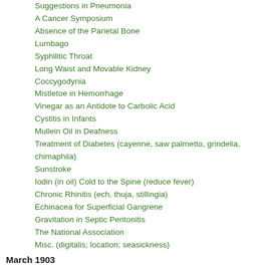Suggestions in Pneumonia
A Cancer Symposium
Absence of the Parietal Bone
Lumbago
Syphilitic Throat
Long Waist and Movable Kidney
Coccygodynia
Mistletoe in Hemorrhage
Vinegar as an Antidote to Carbolic Acid
Cystitis in Infants
Mullein Oil in Deafness
Treatment of Diabetes (cayenne, saw palmetto, grindelia, chimaphila)
Sunstroke
Iodin (in oil) Cold to the Spine (reduce fever)
Chronic Rhinitis (ech, thuja, stillingia)
Echinacea for Superficial Gangrene
Gravitation in Septic Peritonitis
The National Association
Misc. (digitalis; location; seasickness)
March 1903